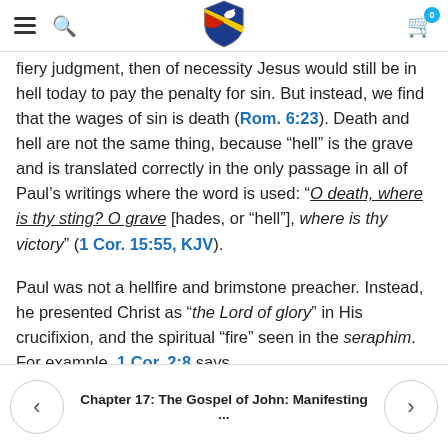Navigation bar with hamburger menu, search icon, shield logo, and cart icon (badge: 0)
fiery judgment, then of necessity Jesus would still be in hell today to pay the penalty for sin. But instead, we find that the wages of sin is death (Rom. 6:23). Death and hell are not the same thing, because “hell” is the grave and is translated correctly in the only passage in all of Paul’s writings where the word is used: “O death, where is thy sting? O grave [hades, or “hell”], where is thy victory” (1 Cor. 15:55, KJV).
Paul was not a hellfire and brimstone preacher. Instead, he presented Christ as “the Lord of glory” in His crucifixion, and the spiritual “fire” seen in the seraphim. For example, 1 Cor. 2:8 says,
Chapter 17: The Gospel of John: Manifesting ...